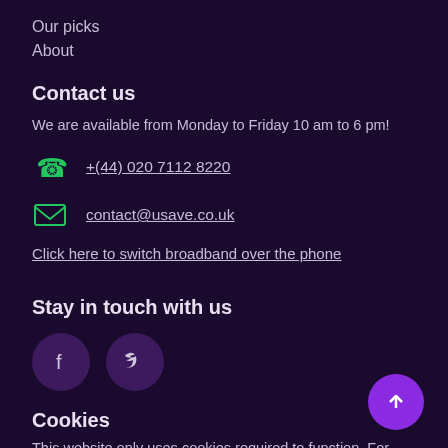Our picks
About
Contact us
We are available from Monday to Friday 10 am to 6 pm!
+(44) 020 7112 8220
contact@usave.co.uk
Click here to switch broadband over the phone
Stay in touch with us
[Figure (illustration): Facebook and Twitter social media icon circles]
Cookies
This website only uses cookies required to function. For more